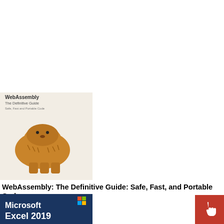[Figure (photo): Book cover: WebAssembly: The Definitive Guide – shows a capybara/animal illustration on a beige background with title text at top]
WebAssembly: The Definitive Guide: Safe, Fast, and Portable Code
[Figure (photo): Book cover: Microsoft Excel 2019 Data Analysis and Business Modeling – dark blue cover with chart/graph imagery and white title text]
Microsoft Excel 2019 Data Analysis and Business Modeling, 6th Edition
[Figure (photo): Book cover: Microsoft Excel & Access – red cover with Microsoft branding and subtitle text]